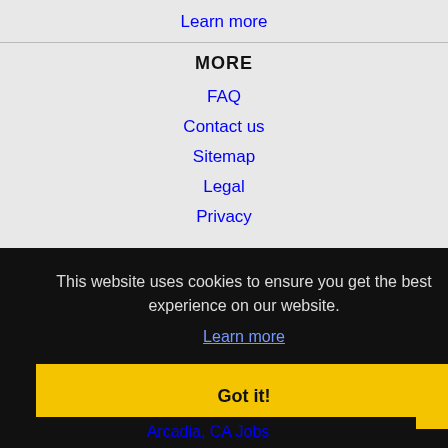Learn more
MORE
FAQ
Contact us
Sitemap
Legal
Privacy
This website uses cookies to ensure you get the best experience on our website.
Learn more
Got it!
Arcadia, CA Jobs